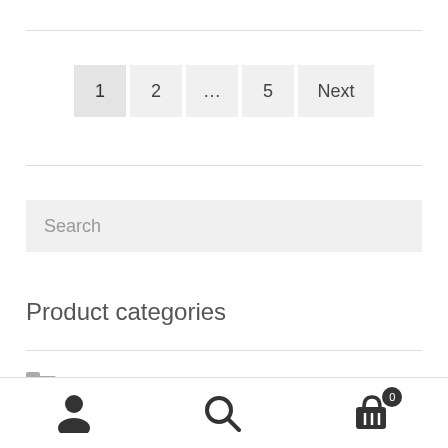1  2  …  5  Next
Search
Product categories
Cookie Cutters
User icon | Search icon | Cart icon (0)